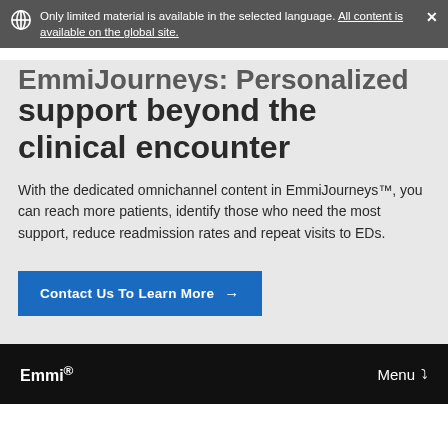Only limited material is available in the selected language. All content is available on the global site.
EmmiJourneys: Personalized support beyond the clinical encounter
With the dedicated omnichannel content in EmmiJourneys™, you can reach more patients, identify those who need the most support, reduce readmission rates and repeat visits to EDs.
Contact Us To Learn More →
Emmi® Menu